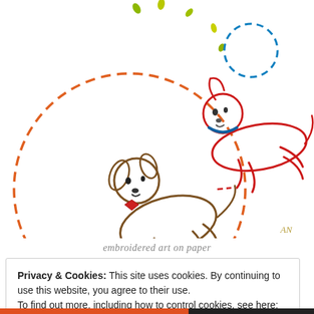[Figure (illustration): Embroidered art on paper showing two cartoon dogs: one brown dog with a red bow tie inside an orange dashed circle with green confetti-like marks, and one red outlined jumping dog wearing a blue collar with a blue dashed circle hoop above it. Small illustrated marks and squiggles surround the dogs. Initials 'AN' visible bottom right corner of artwork area.]
embroidered art on paper
Privacy & Cookies: This site uses cookies. By continuing to use this website, you agree to their use.
To find out more, including how to control cookies, see here:
Cookie Policy
Close and accept